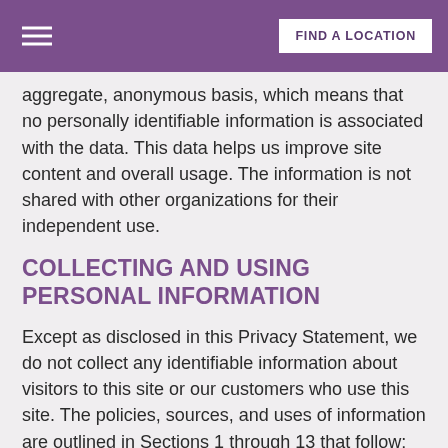FIND A LOCATION
aggregate, anonymous basis, which means that no personally identifiable information is associated with the data. This data helps us improve site content and overall usage. The information is not shared with other organizations for their independent use.
COLLECTING AND USING PERSONAL INFORMATION
Except as disclosed in this Privacy Statement, we do not collect any identifiable information about visitors to this site or our customers who use this site. The policies, sources, and uses of information are outlined in Sections 1 through 13 that follow:
1. WEB LOGS